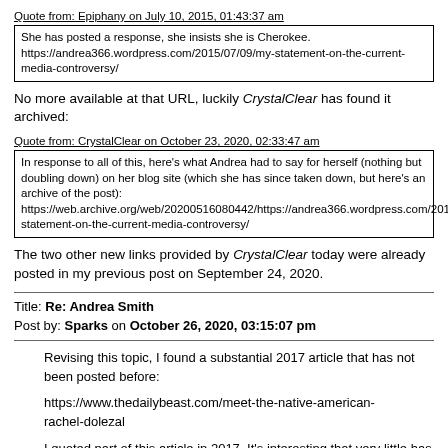Quote from: Epiphany on July 10, 2015, 01:43:37 am
She has posted a response, she insists she is Cherokee. https://andrea366.wordpress.com/2015/07/09/my-statement-on-the-current-media-controversy/
No more available at that URL, luckily CrystalClear has found it archived:
Quote from: CrystalClear on October 23, 2020, 02:33:47 am
In response to all of this, here's what Andrea had to say for herself (nothing but doubling down) on her blog site (which she has since taken down, but here's an archive of the post): https://web.archive.org/web/20200516080442/https://andrea366.wordpress.com/2015/07/09/statement-on-the-current-media-controversy/
The two other new links provided by CrystalClear today were already posted in my previous post on September 24, 2020.
Title: Re: Andrea Smith
Post by: Sparks on October 26, 2020, 03:15:07 pm
Revising this topic, I found a substantial 2017 article that has not been posted before:
https://www.thedailybeast.com/meet-the-native-american-rachel-dolezal
I quoted part of this article in 2017. It's interesting that very little has been added since 2015, except a couple of recent books in the "Selected publications" section: